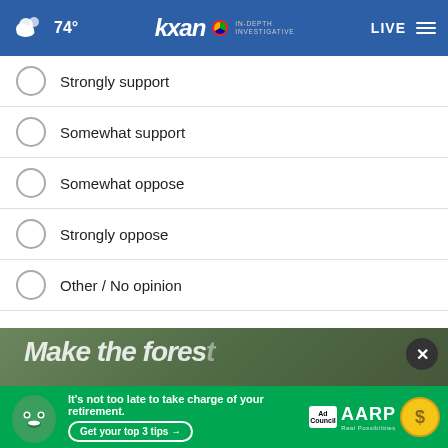74° KXAN IN-DEPTH INVESTIGATIVE LIVE
Strongly support
Somewhat support
Somewhat oppose
Strongly oppose
Other / No opinion
NEXT *
* By clicking "NEXT" you agree to the following: We use cookies to track your survey answers. If you would like to continue with this survey, please read and agree to the CivicScience Privacy Policy and Terms of Service
[Figure (screenshot): Advertisement banner: AARP retirement ad with green mascot face, 'It's not too late to take charge of your retirement. Get your top 3 tips' with Ad Council logo and AARP logo, overlaid on a forest background image with close button]